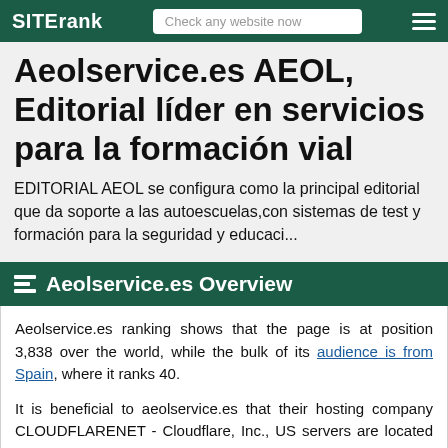SITErank | Check any website now
Aeolservice.es AEOL, Editorial líder en servicios para la formación vial
EDITORIAL AEOL se configura como la principal editorial que da soporte a las autoescuelas,con sistemas de test y formación para la seguridad y educaci...
Aeolservice.es Overview
Aeolservice.es ranking shows that the page is at position 3,838 over the world, while the bulk of its audience is from Spain, where it ranks 40.
It is beneficial to aeolservice.es that their hosting company CLOUDFLARENET - Cloudflare, Inc., US servers are located in Spain, as that reduces page load time for the majority of their users. See the list of other webpages hosted on CLOUDFLARENET - Cloudflare, Inc., US servers.